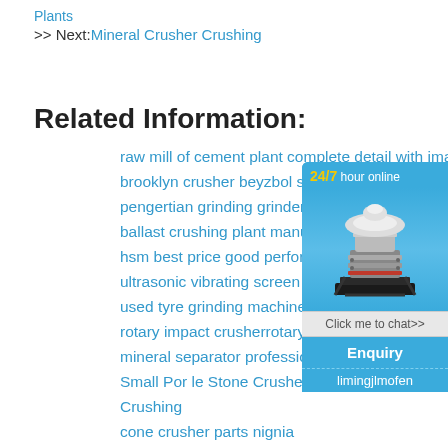Plants
>> Next: Mineral Crusher Crushing
Related Information:
raw mill of cement plant complete detail with images
brooklyn crusher beyzbol sopasi
pengertian grinding grinder
ballast crushing plant manufacturer
hsm best price good performance f
ultrasonic vibrating screen
used tyre grinding machine
rotary impact crusherrotary impact
mineral separator professional
Small Por le Stone Crusher For Sa Crushing
cone crusher parts nignia
kinds of minerals and their propertie
mining construction bearings
[Figure (infographic): 24/7 hour online chat widget with cone crusher machine image, Click me to chat>> button, Enquiry section, and limingjlmofen label]